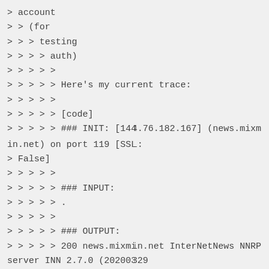> account
> > (for
> > > testing
> > > > auth)
> > > > >
> > > > > Here's my current trace:
> > > > >
> > > > > [code]
> > > > > ### INIT: [144.76.182.167] (news.mixmin.net) on port 119 [SSL:
> False]
> > > > >
> > > > > ### INPUT:
> > > > > .
> > > > >
> > > > > ### OUTPUT:
> > > > > 200 news.mixmin.net InterNetNews NNRP server INN 2.7.0 (20200329
> > > prerelease)
> > > > ready
> > > > > (posting ok)